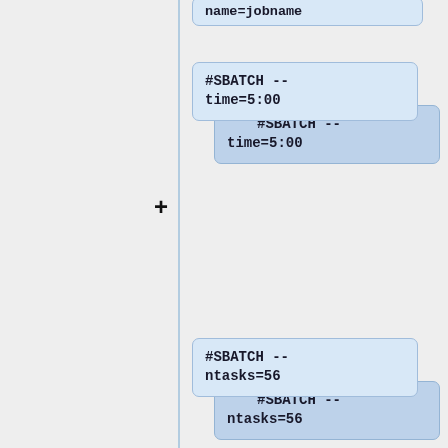[Figure (flowchart): A diagram showing SBATCH directive cards stacked with '+' merge symbols. Each group has two overlapping cards showing: name=jobname (partial at top), #SBATCH --time=5:00, #SBATCH --ntasks=56, #SBATCH --ntasks-per-node=28, #SBATCH --mem=32G (partial at bottom).]